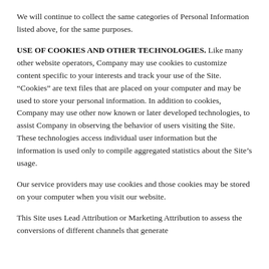We will continue to collect the same categories of Personal Information listed above, for the same purposes.
USE OF COOKIES AND OTHER TECHNOLOGIES.
Like many other website operators, Company may use cookies to customize content specific to your interests and track your use of the Site. “Cookies” are text files that are placed on your computer and may be used to store your personal information. In addition to cookies, Company may use other now known or later developed technologies, to assist Company in observing the behavior of users visiting the Site. These technologies access individual user information but the information is used only to compile aggregated statistics about the Site’s usage.
Our service providers may use cookies and those cookies may be stored on your computer when you visit our website.
This Site uses Lead Attribution or Marketing Attribution to assess the conversions of different channels that generate